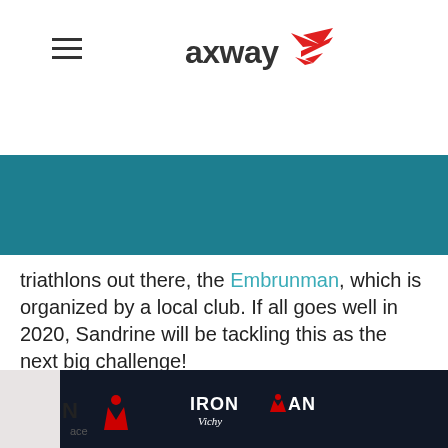[Figure (logo): Axway company logo with stylized red arrow/chevron icon and 'axway' text in dark gray]
Navigation bar with hamburger menu icon in teal/dark blue background
triathlons out there, the Embrunman, which is organized by a local club. If all goes well in 2020, Sandrine will be tackling this as the next big challenge!
[Figure (photo): Person standing in front of IRONMAN Vichy backdrop/banner. Logo visible: IRONMAN Vichy France. Red and white branding.]